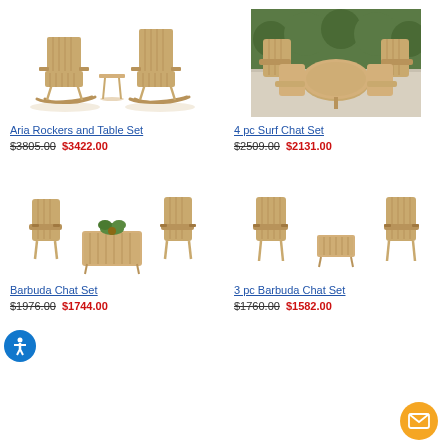[Figure (photo): Aria Rockers and Table Set - two teak rocking chairs with small side table, white background]
Aria Rockers and Table Set
$3805.00 $3422.00
[Figure (photo): 4 pc Surf Chat Set - four teak folding chairs with round coffee table on patio]
4 pc Surf Chat Set
$2509.00 $2131.00
[Figure (photo): Barbuda Chat Set - two teak folding armchairs with rectangular coffee table and plant]
Barbuda Chat Set
$1976.00 $1744.00
[Figure (photo): 3 pc Barbuda Chat Set - two teak folding armchairs with small side table between them]
3 pc Barbuda Chat Set
$1760.00 $1582.00